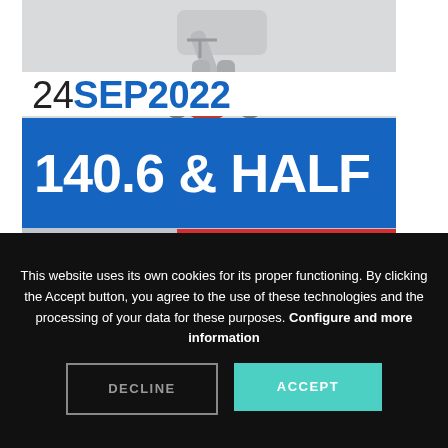[Figure (photo): Triathlon event promotional image showing a cyclist with date '24SEP2022' and '140.6 & HALF' text, with Mallorca Illes Balears and Challenge Peguera-Mallorca logos below]
This website uses its own cookies for its proper functioning. By clicking the Accept button, you agree to the use of these technologies and the processing of your data for these purposes. Configure and more information
DECLINE
ACCEPT